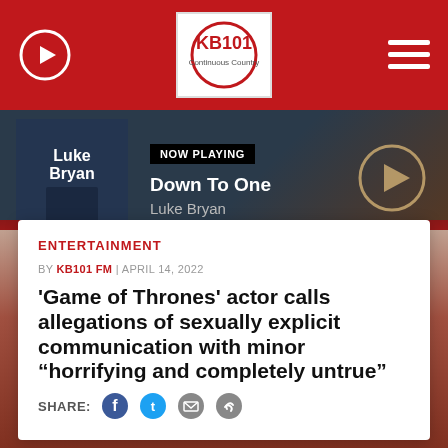KB101 Continuous Country
[Figure (screenshot): Now Playing banner showing Luke Bryan album art with song 'Down To One' by Luke Bryan]
ENTERTAINMENT
BY KB101 FM | APRIL 14, 2022
'Game of Thrones' actor calls allegations of sexually explicit communication with minor “horifying and completely untrue”
SHARE: